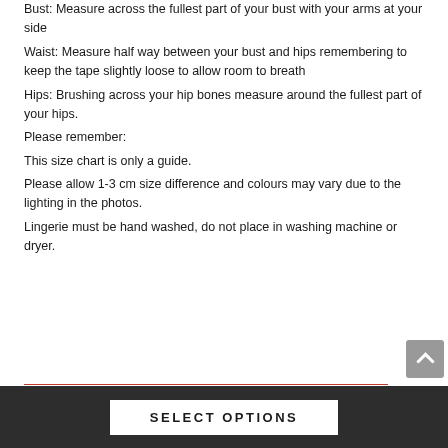Bust: Measure across the fullest part of your bust with your arms at your side
Waist: Measure half way between your bust and hips remembering to keep the tape slightly loose to allow room to breath
Hips: Brushing across your hip bones measure around the fullest part of your hips.
Please remember:
This size chart is only a guide.
Please allow 1-3 cm size difference and colours may vary due to the lighting in the photos.
Lingerie must be hand washed, do not place in washing machine or dryer.
SELECT OPTIONS